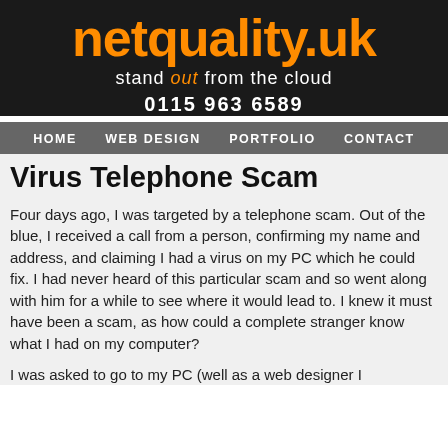[Figure (logo): netquality.uk logo with orange text on dark background, tagline 'stand out from the cloud', phone number 0115 963 6589]
HOME   WEB DESIGN   PORTFOLIO   CONTACT
Virus Telephone Scam
Four days ago, I was targeted by a telephone scam. Out of the blue, I received a call from a person, confirming my name and address, and claiming I had a virus on my PC which he could fix. I had never heard of this particular scam and so went along with him for a while to see where it would lead to. I knew it must have been a scam, as how could a complete stranger know what I had on my computer?
I was asked to go to my PC (well as a web designer I...